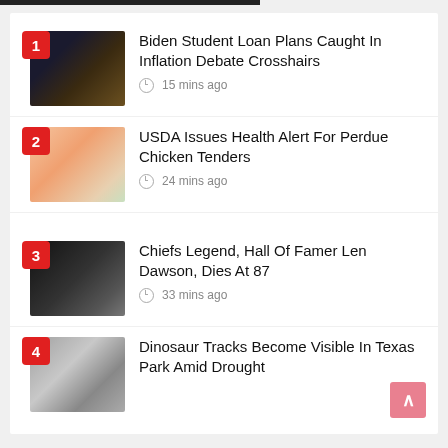1 Biden Student Loan Plans Caught In Inflation Debate Crosshairs — 15 mins ago
2 USDA Issues Health Alert For Perdue Chicken Tenders — 24 mins ago
3 Chiefs Legend, Hall Of Famer Len Dawson, Dies At 87 — 33 mins ago
4 Dinosaur Tracks Become Visible In Texas Park Amid Drought